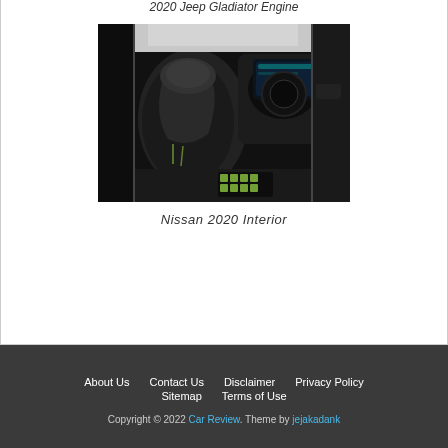[Figure (photo): Interior photo of a Nissan 2020 concept car showing futuristic black bucket seat, open-top cabin, digital dashboard and green accent details on the floor]
Nissan 2020 Interior
About Us   Contact Us   Disclaimer   Privacy Policy   Sitemap   Terms of Use   Copyright © 2022 Car Review. Theme by jejakadank